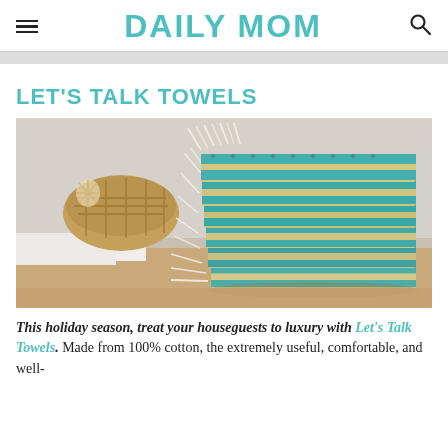DAILY MOM
LET'S TALK TOWELS
[Figure (photo): A stack of folded teal and cream herringbone/woven cotton towels with fringe, placed on a bathroom counter, with a wicker basket in the background.]
This holiday season, treat your houseguests to luxury with Let's Talk Towels. Made from 100% cotton, the extremely useful, comfortable, and well-